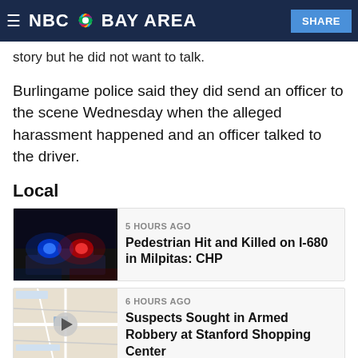NBC Bay Area
story but he did not want to talk.
Burlingame police said they did send an officer to the scene Wednesday when the alleged harassment happened and an officer talked to the driver.
Local
[Figure (photo): Police car with blue and red emergency lights at night]
5 HOURS AGO
Pedestrian Hit and Killed on I-680 in Milpitas: CHP
[Figure (screenshot): Map view with video play button overlay]
6 HOURS AGO
Suspects Sought in Armed Robbery at Stanford Shopping Center
He's someone they know from prior calls - but no arrest was